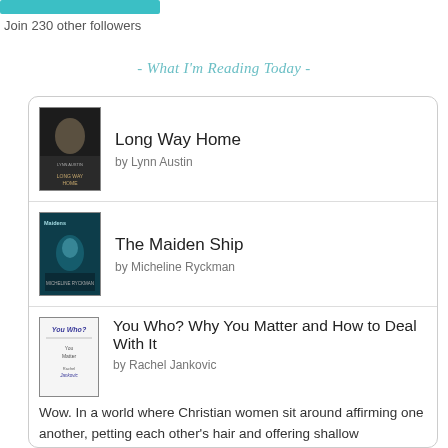[Figure (other): Teal/cyan button bar at top]
Join 230 other followers
- What I'm Reading Today -
Long Way Home by Lynn Austin
The Maiden Ship by Micheline Ryckman
You Who? Why You Matter and How to Deal With It by Rachel Jankovic — Wow. In a world where Christian women sit around affirming one another, petting each other's hair and offering shallow assurances about how worthy we all are, how we just need to wash our own face, be empowered,